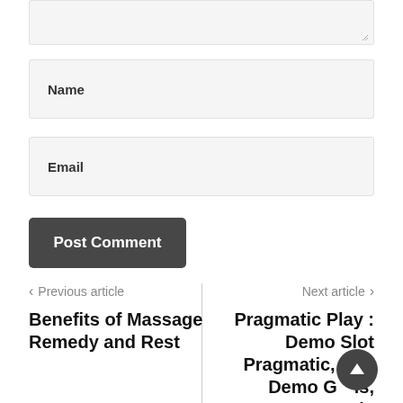[Figure (screenshot): Textarea input field (partially visible at top)]
Name
Email
Post Comment
< Previous article
Benefits of Massage Remedy and Rest
Next article >
Pragmatic Play : Demo Slot Pragmatic, Slot Demo Gratis, Pragmatic Play Demo